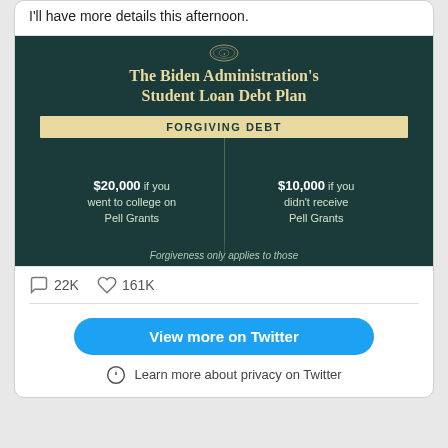I'll have more details this afternoon.
[Figure (infographic): The Biden Administration's Student Loan Debt Plan infographic showing: FORGIVING DEBT - $20,000 if you went to college on Pell Grants | $10,000 if you didn't receive Pell Grants. Forgiveness only applies to those...]
22K  161K
View more on Twitter
Learn more about privacy on Twitter